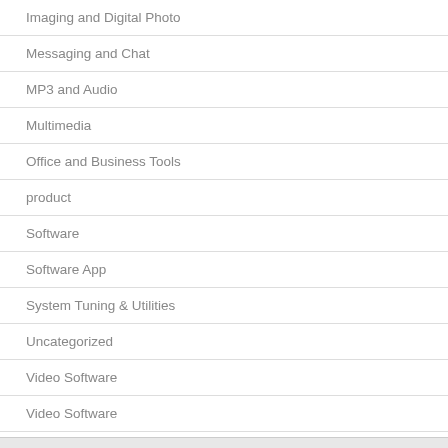Imaging and Digital Photo
Messaging and Chat
MP3 and Audio
Multimedia
Office and Business Tools
product
Software
Software App
System Tuning & Utilities
Uncategorized
Video Software
Video Software
Windows